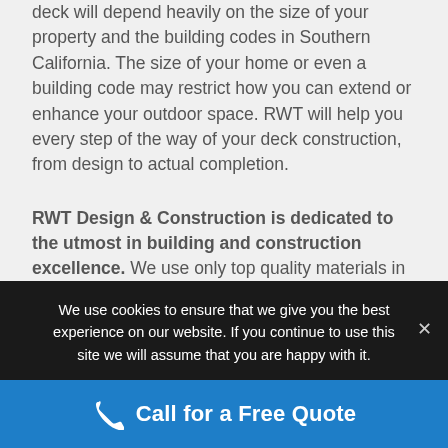deck will depend heavily on the size of your property and the building codes in Southern California. The size of your home or even a building code may restrict how you can extend or enhance your outdoor space. RWT will help you every step of the way of your deck construction, from design to actual completion.
RWT Design & Construction is dedicated to the utmost in building and construction excellence. We use only top quality materials in every building or remodeling project we undertake. We won’t rest until you have the exterior addition to your home or property that you have been dreaming about.
We use cookies to ensure that we give you the best experience on our website. If you continue to use this site we will assume that you are happy with it.
Call for a Free Quote